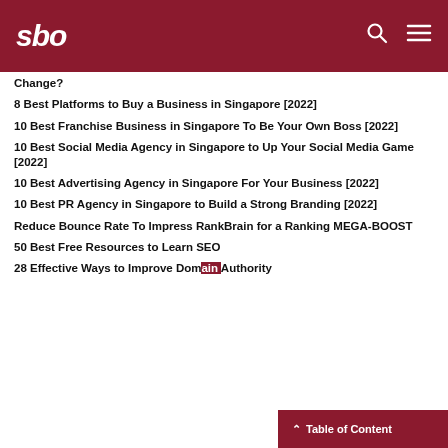sbo
Change?
8 Best Platforms to Buy a Business in Singapore [2022]
10 Best Franchise Business in Singapore To Be Your Own Boss [2022]
10 Best Social Media Agency in Singapore to Up Your Social Media Game [2022]
10 Best Advertising Agency in Singapore For Your Business [2022]
10 Best PR Agency in Singapore to Build a Strong Branding [2022]
Reduce Bounce Rate To Impress RankBrain for a Ranking MEGA-BOOST
50 Best Free Resources to Learn SEO
28 Effective Ways to Improve Domain Authority